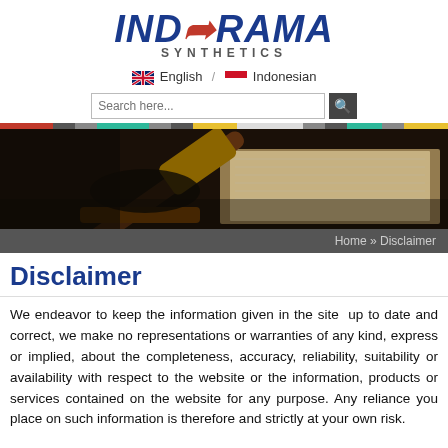[Figure (logo): Indorama Synthetics logo — bold dark blue italic text with red arrow through the O, SYNTHETICS in spaced gray caps below]
English  /  Indonesian
Search here...
[Figure (photo): Close-up photograph of a judge's gavel silhouette against an open law book, dark moody lighting with brown tones]
Home » Disclaimer
Disclaimer
We endeavor to keep the information given in the site  up to date and correct, we make no representations or warranties of any kind, express or implied, about the completeness, accuracy, reliability, suitability or availability with respect to the website or the information, products or services contained on the website for any purpose. Any reliance you place on such information is therefore and strictly at your own risk.